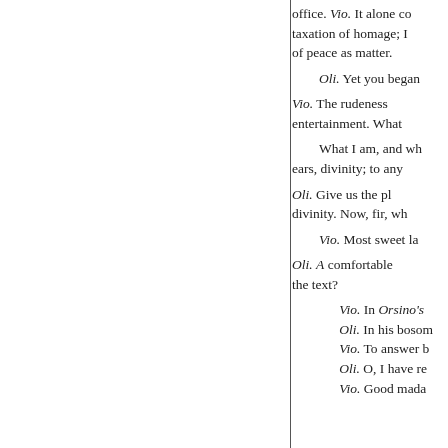office. Vio. It alone co taxation of homage; I of peace as matter.
Oli. Yet you began
Vio. The rudeness entertainment. What
What I am, and wh ears, divinity; to any
Oli. Give us the pl divinity. Now, fir, wh
Vio. Most sweet la
Oli. A comfortable the text?
Vio. In Orsino's
Oli. In his bosom
Vio. To answer b
Oli. O, I have re
Vio. Good mada